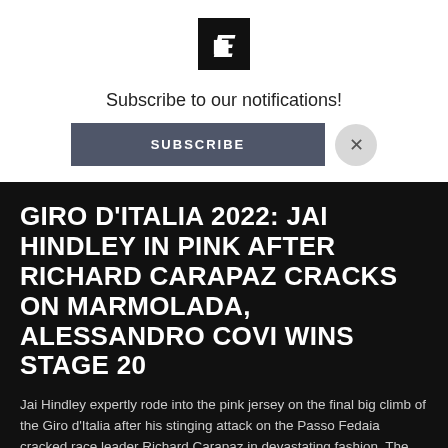[Figure (logo): Black square logo with stylized white letter E]
Subscribe to our notifications!
SUBSCRIBE
GIRO D'ITALIA 2022: JAI HINDLEY IN PINK AFTER RICHARD CARAPAZ CRACKS ON MARMOLADA, ALESSANDRO COVI WINS STAGE 20
Jai Hindley expertly rode into the pink jersey on the final big climb of the Giro d'Italia after his stinging attack on the Passo Fedaia cracked race leader Richard Carapaz in devastating fashion. The Australian will take a lead of 1:25 into Sunday's decisive time trial in Verona after taking a stunning sixth place on Stage 20, won by the Italian Alessandro Covi from the breakaway.